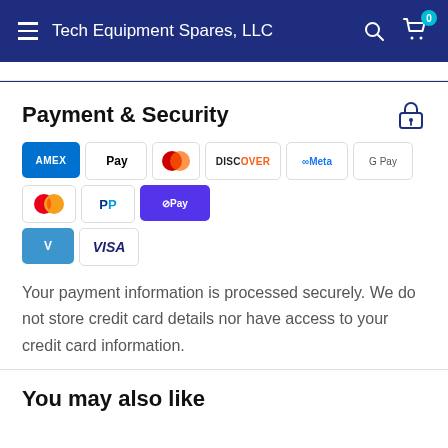Tech Equipment Spares, LLC
Payment & Security
[Figure (other): Payment method icons: Amex, Apple Pay, Diners Club, Discover, Meta, Google Pay, Mastercard, PayPal, Shop Pay, Venmo, Visa]
Your payment information is processed securely. We do not store credit card details nor have access to your credit card information.
You may also like